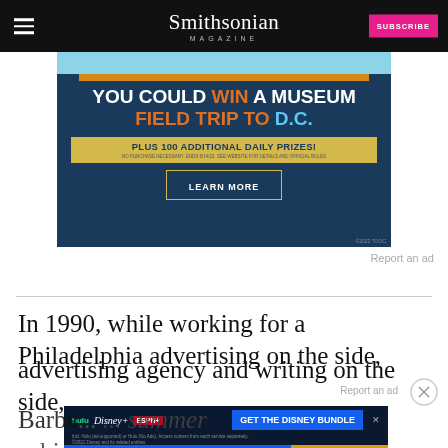Smithsonian MAGAZINE  SUBSCRIBE
[Figure (illustration): Advertisement banner: 'YOU COULD WIN A MUSEUM FIELD TRIP TO D.C. PLUS 100 ADDITIONAL DAILY PRIZES! LEARN MORE ©2022 TOOC']
Report an ad
In 1990, while working for a Philadelphia advertising agency and writing on the side, Barba... summer cabin... ern Virginia. Unable to find a buyer for the...
Report an ad
[Figure (illustration): Advertisement banner for Disney Bundle: Hulu, Disney+, ESPN+ 'GET THE DISNEY BUNDLE']